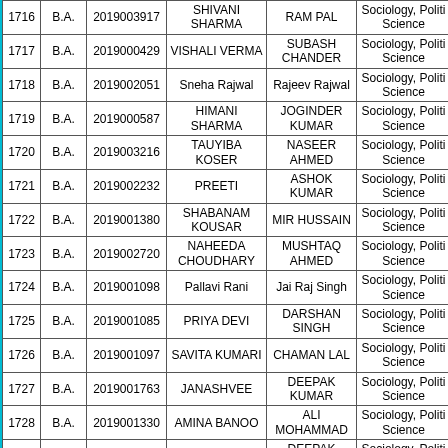| # | Degree | Roll No | Student Name | Father Name | Subjects |
| --- | --- | --- | --- | --- | --- |
| 1716 | B.A. | 2019003917 | SHIVANI SHARMA | RAM PAL | Sociology, Political Science |
| 1717 | B.A. | 2019000429 | VISHALI VERMA | SUBASH CHANDER | Sociology, Political Science |
| 1718 | B.A. | 2019002051 | Sneha Rajwal | Rajeev Rajwal | Sociology, Political Science |
| 1719 | B.A. | 2019000587 | HIMANI SHARMA | JOGINDER KUMAR | Sociology, Political Science |
| 1720 | B.A. | 2019003216 | TAUYIBA KOSER | NASEER AHMED | Sociology, Political Science |
| 1721 | B.A. | 2019002232 | PREETI | ASHOK KUMAR | Sociology, Political Science |
| 1722 | B.A. | 2019001380 | SHABANAM KOUSAR | MIR HUSSAIN | Sociology, Political Science |
| 1723 | B.A. | 2019002720 | NAHEEDA CHOUDHARY | MUSHTAQ AHMED | Sociology, Political Science |
| 1724 | B.A. | 2019001098 | Pallavi Rani | Jai Raj Singh | Sociology, Political Science |
| 1725 | B.A. | 2019001085 | PRIYA DEVI | DARSHAN SINGH | Sociology, Political Science |
| 1726 | B.A. | 2019001097 | SAVITA KUMARI | CHAMAN LAL | Sociology, Political Science |
| 1727 | B.A. | 2019001763 | JANASHVEE | DEEPAK KUMAR | Sociology, Political Science |
| 1728 | B.A. | 2019001330 | AMINA BANOO | ALI MOHAMMAD | Sociology, Political Science |
| 1729 | B.A. | 2019002779 | SONIA | DEEPAK KUMAR | Sociology, Political Science |
| 1730 | B.A. | 2019003446 | PERIANKA DEVI | BODH RAJ | Sociology, Political Science |
| 1731 | B.A. | 2019001301 | simran sajgotra | sanjay kumar | Sociology, Political Science |